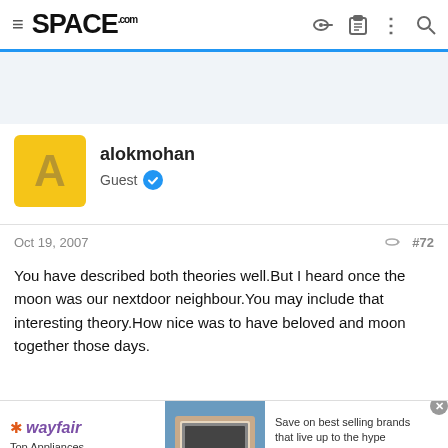SPACE.com
[Figure (screenshot): Yellow avatar square with letter A for user alokmohan]
alokmohan
Guest
Oct 19, 2007  #72
You have described both theories well.But I heard once the moon was our nextdoor neighbour.You may include that interesting theory.How nice was to have beloved and moon together those days.
[Figure (infographic): Wayfair advertisement: Top Appliances Low Prices, Save on best selling brands that live up to the hype, Shop now button]